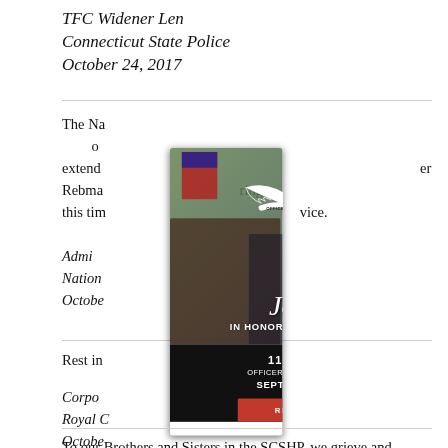TFC Widener Len
Connecticut State Police
October 24, 2017
The National Law Enforcement Officers Memorial Fund would like to extend its condolences to the family and colleagues of Trooper Rebman during this time of difficult service.
Administrator,
National Law Enforcement Officers Memorial Fund
October 24, 2017
Rest in
Corporal...
Royal Canadian...
October...
[Figure (infographic): Officer Down Memorial Ride popup modal with eagle logo, 'Join Us In Honoring Fallen Heroes', 11th Annual Officer Down Memorial Ride, September 24, 2022, Register Now button]
To our Brothers and Sisters in the SCSHP, we grieve and mourn with you in your loss of Trooper Rebman. We pray that the peace of God will rest upon you and his family